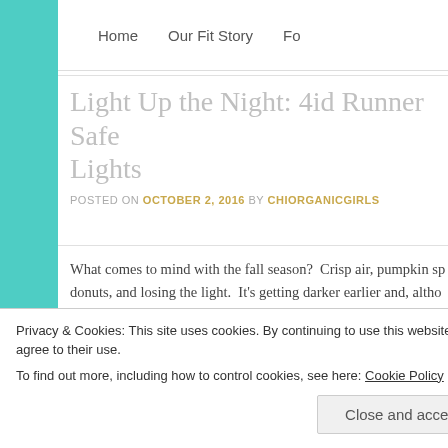Home   Our Fit Story   Fo…
Light Up the Night: 4id Runner Safety Lights
POSTED ON OCTOBER 2, 2016 BY CHIORGANICGIRLS
What comes to mind with the fall season?  Crisp air, pumpkin sp… donuts, and losing the light.  It's getting darker earlier and, altho… weather, we gotta figure out how to stay safe in our bustling city.
Privacy & Cookies: This site uses cookies. By continuing to use this website, you agree to their use.
To find out more, including how to control cookies, see here: Cookie Policy
Close and accept